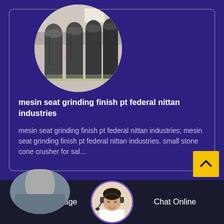[Figure (photo): Circular photo of industrial grinding/milling machines in a factory setting, grey containers on a production line]
mesin seat grinding finish pt federal nittan industries
mesin seat grinding finish pt federal nittan industries; mesin seat grinding finish pt federal nittan industries. small stone cone crusher for sal...
[Figure (photo): Partial circular photo of an industrial tank or silo in bottom bar]
[Figure (photo): Circular avatar photo of a woman with headset]
Leave Message
Chat Online